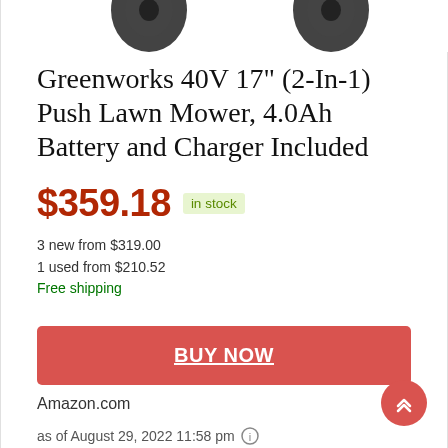[Figure (photo): Partial view of lawn mower wheels at the top of the page]
Greenworks 40V 17" (2-In-1) Push Lawn Mower, 4.0Ah Battery and Charger Included
$359.18  in stock
3 new from $319.00
1 used from $210.52
Free shipping
BUY NOW
Amazon.com
as of August 29, 2022 11:58 pm ℹ